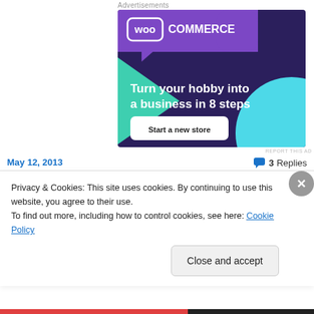Advertisements
[Figure (illustration): WooCommerce advertisement banner with dark purple background, purple speech bubble logo area with 'woo COMMERCE' text, green triangle shape on left, teal circle on bottom right, headline 'Turn your hobby into a business in 8 steps', and white 'Start a new store' button]
REPORT THIS AD
May 12, 2013
3 Replies
Privacy & Cookies: This site uses cookies. By continuing to use this website, you agree to their use.
To find out more, including how to control cookies, see here: Cookie Policy
Close and accept